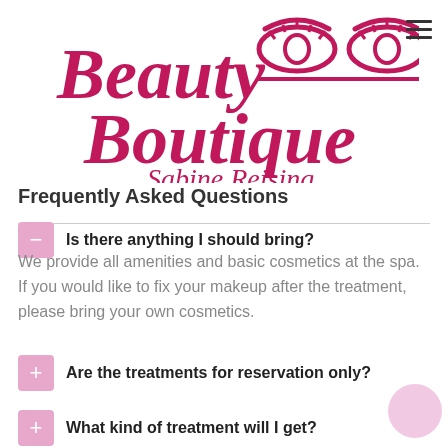[Figure (logo): Beauty Boutique Sabine Reising logo with cursive pink text and eye graphic]
Frequently Asked Questions
Is there anything I should bring?
We provide all amenities and basic cosmetics at the spa. If you would like to fix your makeup after the treatment, please bring your own cosmetics.
Are the treatments for reservation only?
What kind of treatment will I get?